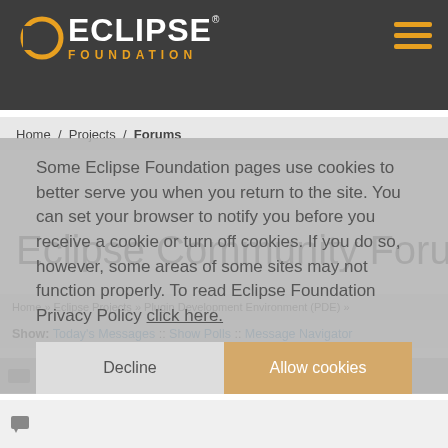[Figure (logo): Eclipse Foundation logo with orange crescent icon and white ECLIPSE text, orange FOUNDATION text below]
Home / Projects / Forums
Some Eclipse Foundation pages use cookies to better serve you when you return to the site. You can set your browser to notify you before you receive a cookie or turn off cookies. If you do so, however, some areas of some sites may not function properly. To read Eclipse Foundation Privacy Policy click here.
Eclipse Community Forum
Home » Eclipse Projects » Plugin Development Environment (PDE) »
Show: Today's Messages :: Show Polls :: Message Navigator
Struggling with PDEBuild and products [message #728577]